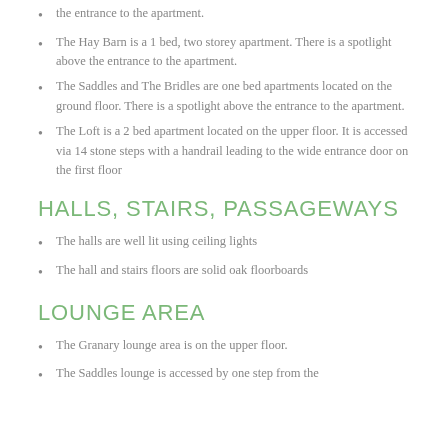the entrance to the apartment.
The Hay Barn is a 1 bed, two storey apartment. There is a spotlight above the entrance to the apartment.
The Saddles and The Bridles are one bed apartments located on the ground floor. There is a spotlight above the entrance to the apartment.
The Loft is a 2 bed apartment located on the upper floor. It is accessed via 14 stone steps with a handrail leading to the wide entrance door on the first floor
HALLS, STAIRS, PASSAGEWAYS
The halls are well lit using ceiling lights
The hall and stairs floors are solid oak floorboards
LOUNGE AREA
The Granary lounge area is on the upper floor.
The Saddles lounge is accessed by one step from the